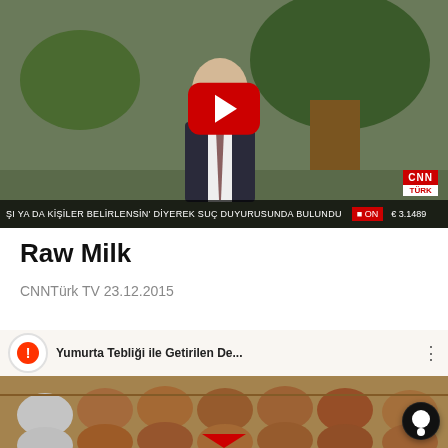[Figure (screenshot): YouTube video thumbnail showing a man in a suit being interviewed outdoors, with CNN Türk logo and a news ticker at the bottom reading 'ŞI YA DA KİŞİLER BELİRLENSİN' DİYEREK SUÇ DUYURUSUNDA BULUNDU'. A red YouTube play button is overlaid in the center.]
Raw Milk
CNNTürk TV 23.12.2015
[Figure (screenshot): YouTube video thumbnail showing a carton of brown and white eggs, with a red warning icon and title 'Yumurta Tebliği ile Getirilen De...' in the YouTube info bar overlay.]